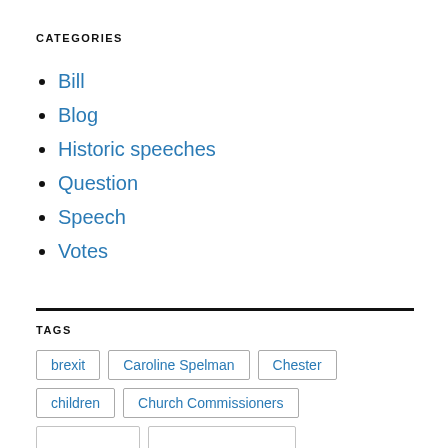CATEGORIES
Bill
Blog
Historic speeches
Question
Speech
Votes
TAGS
brexit
Caroline Spelman
Chester
children
Church Commissioners